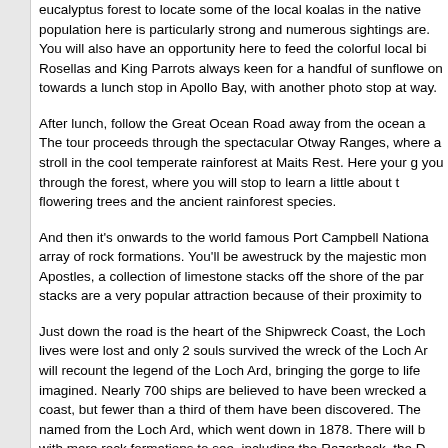eucalyptus forest to locate some of the local koalas in the native population here is particularly strong and numerous sightings are. You will also have an opportunity here to feed the colorful local bi Rosellas and King Parrots always keen for a handful of sunflowe on towards a lunch stop in Apollo Bay, with another photo stop at way.
After lunch, follow the Great Ocean Road away from the ocean a The tour proceeds through the spectacular Otway Ranges, where a stroll in the cool temperate rainforest at Maits Rest. Here your g you through the forest, where you will stop to learn a little about t flowering trees and the ancient rainforest species.
And then it's onwards to the world famous Port Campbell Nationa array of rock formations. You'll be awestruck by the majestic mon Apostles, a collection of limestone stacks off the shore of the par stacks are a very popular attraction because of their proximity to
Just down the road is the heart of the Shipwreck Coast, the Loch lives were lost and only 2 souls survived the wreck of the Loch Ar will recount the legend of the Loch Ard, bringing the gorge to life imagined. Nearly 700 ships are believed to have been wrecked a coast, but fewer than a third of them have been discovered. The named from the Loch Ard, which went down in 1878. There will b with more rock formations to see, including the Razorback, the D delightful Island Archway. A stop is made for dinner on your own Melbourne, before enjoying a stunning view of the illuminated city Westgate Bridge again on the way home. For a day full of natura expert guide, skip the larger tours and join this small group adver